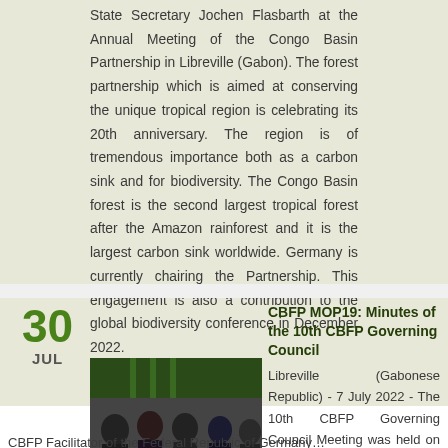State Secretary Jochen Flasbarth at the Annual Meeting of the Congo Basin Partnership in Libreville (Gabon). The forest partnership which is aimed at conserving the unique tropical region is celebrating its 20th anniversary. The region is of tremendous importance both as a carbon sink and for biodiversity. The Congo Basin forest is the second largest tropical forest after the Amazon rainforest and it is the largest carbon sink worldwide. Germany is currently chairing the Partnership. This engagement is also a contribution to the global biodiversity conference in December 2022.
Read more …
30 JUL
CBFP MOP19: Minutes of the 10th CBFP Governing Council
[Figure (photo): Meeting scene with several people seated around a table in a conference room, appearing to be in discussion.]
Libreville (Gabonese Republic) - 7 July 2022 - The 10th CBFP Governing Council Meeting was held on held on 7 July 2022 and chaired by Hon. Dr. Christian Ruck, CBFP Facilitator of the Federal Republic of Germany…